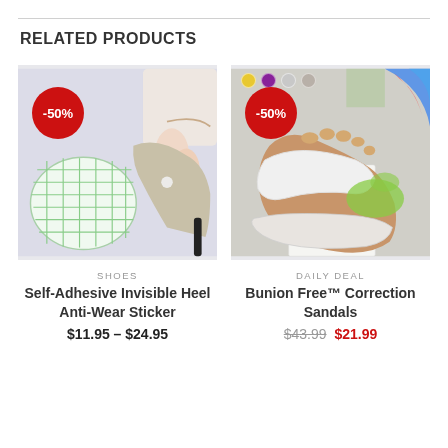RELATED PRODUCTS
[Figure (photo): Photo of self-adhesive invisible heel anti-wear sticker product with a green grid sticker pad on left and a hand applying sticker to a high heel shoe on right, with -50% red badge]
SHOES
Self-Adhesive Invisible Heel Anti-Wear Sticker
$11.95 – $24.95
[Figure (photo): Photo of Bunion Free correction sandals worn on feet near white blocks/steps, with colorful insoles visible, color swatches shown above image, with -50% red badge]
DAILY DEAL
Bunion Free™ Correction Sandals
$43.99  $21.99